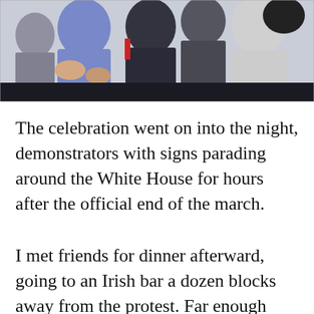[Figure (photo): Crowd of people outdoors, one person in a blue/purple hoodie clapping, others in dark winter jackets; appears to be a demonstration or march.]
The celebration went on into the night, demonstrators with signs parading around the White House for hours after the official end of the march.
I met friends for dinner afterward, going to an Irish bar a dozen blocks away from the protest. Far enough where I thought we could get a table. Wrong. Every seat of the bar was filled with women in pink hats. The TV was turned from a basketball game to CNN. When the broadcast showed video from the march, the crowd cheered, their voices filling up the bar,